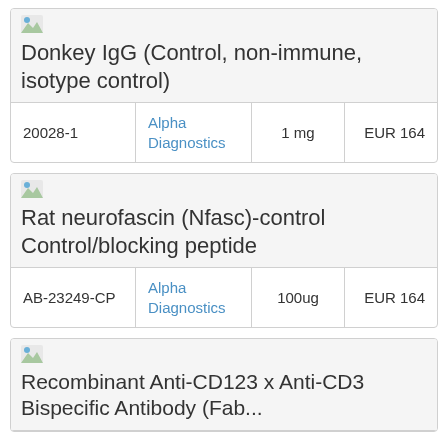| Catalog No. | Supplier | Quantity | Price |
| --- | --- | --- | --- |
| 20028-1 | Alpha Diagnostics | 1 mg | EUR 164 |
| Catalog No. | Supplier | Quantity | Price |
| --- | --- | --- | --- |
| AB-23249-CP | Alpha Diagnostics | 100ug | EUR 164 |
Recombinant Anti-CD123 x Anti-CD3 Bispecific Antibody (Fab...